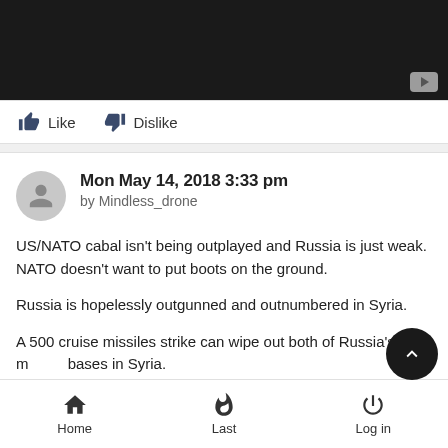[Figure (screenshot): Black video thumbnail with a YouTube-style play button in the bottom-right corner]
Like   Dislike
Mon May 14, 2018 3:33 pm
by Mindless_drone

US/NATO cabal isn't being outplayed and Russia is just weak. NATO doesn't want to put boots on the ground.

Russia is hopelessly outgunned and outnumbered in Syria.

A 500 cruise missiles strike can wipe out both of Russia's m[ilitary] bases in Syria.
Home   Last   Log in